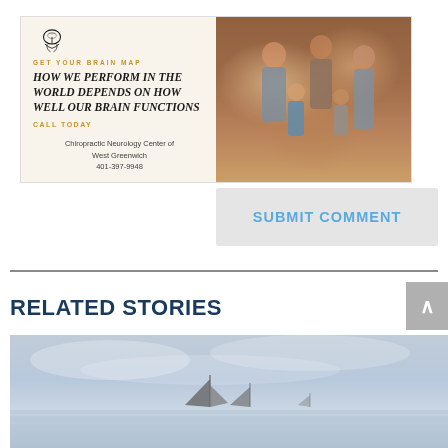[Figure (illustration): Advertisement banner for Chiropractic Neurology Center of West Greenwich featuring brain map promotion with text 'GET YOUR BRAIN MAP - HOW WE PERFORM IN THE WORLD DEPENDS ON HOW WELL OUR BRAIN FUNCTIONS - CALL TODAY' alongside a photo of a happy family in a kitchen]
SUBMIT COMMENT
RELATED STORIES
[Figure (photo): Scenic photo with misty sky and water with sailboat silhouettes]